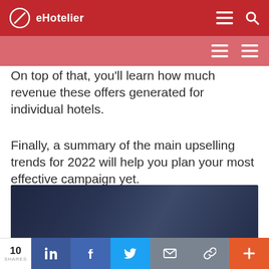eHotelier
On top of that, you'll learn how much revenue these offers generated for individual hotels.
Finally, a summary of the main upselling trends for 2022 will help you plan your most effective campaign yet.
[Figure (photo): Dark blue/navy background image, appears to show a dimly lit scene]
Let's dive in, so you can start